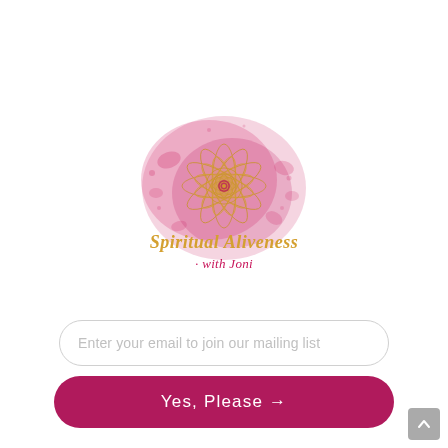[Figure (logo): Spiritual Aliveness with Joni logo: a mandala with pink watercolor splash background, text 'Spiritual Aliveness' in gold script and 'with Joni' in pink script below]
Enter your email to join our mailing list
Yes, Please →